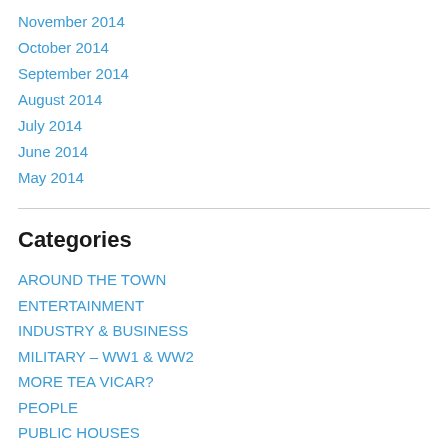November 2014
October 2014
September 2014
August 2014
July 2014
June 2014
May 2014
Categories
AROUND THE TOWN
ENTERTAINMENT
INDUSTRY & BUSINESS
MILITARY – WW1 & WW2
MORE TEA VICAR?
PEOPLE
PUBLIC HOUSES
SCHOOLS
SHOPS